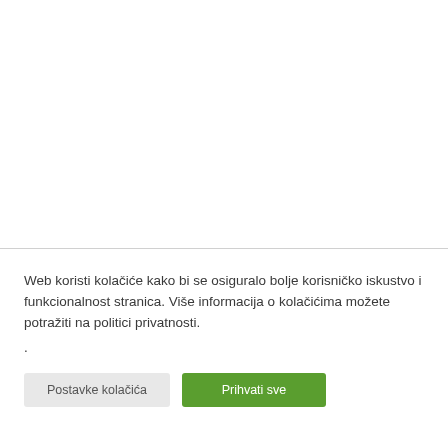Web koristi kolačiće kako bi se osiguralo bolje korisničko iskustvo i funkcionalnost stranica. Više informacija o kolačićima možete potražiti na politici privatnosti.
.
Postavke kolačića | Prihvati sve